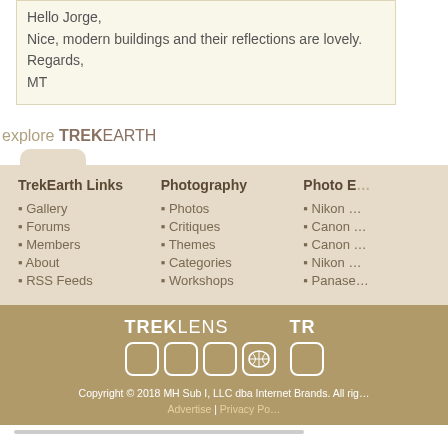Hello Jorge,
Nice, modern buildings and their reflections are lovely.
Regards,
MT
explore TREKEARTH
TrekEarth Links
Gallery
Forums
Members
About
RSS Feeds
Photography
Photos
Critiques
Themes
Categories
Workshops
Photo E...
Nikon ...
Canon ...
Canon ...
Nikon ...
Panase...
[Figure (logo): TrekLens logo with icon boxes and TR logo partially visible]
Copyright © 2018 MH Sub I, LLC dba Internet Brands. All rights reserved.
Advertise | Privacy Po...